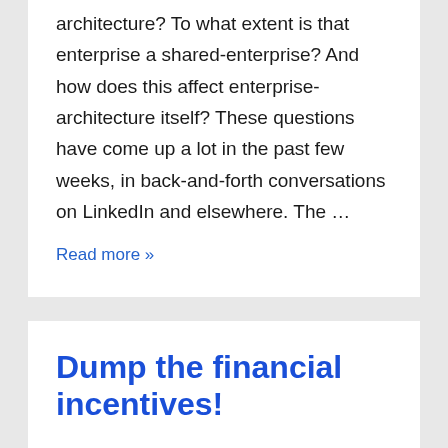architecture? To what extent is that enterprise a shared-enterprise? And how does this affect enterprise-architecture itself? These questions have come up a lot in the past few weeks, in back-and-forth conversations on LinkedIn and elsewhere. The …
Read more »
Dump the financial incentives!
BY TOM G - POSTED ON 5 JUNE 2019 - POSTED IN BUSINESS, COMPLEXITY / STRUCTURE, ENTERPRISE